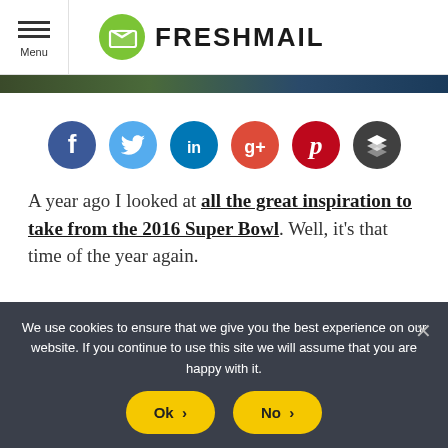Menu | FRESHMAIL
[Figure (infographic): Social sharing icons row: Facebook (dark blue), Twitter (light blue), LinkedIn (dark blue/teal), Google+ (red-orange), Pinterest (dark red), Buffer/layers (dark gray)]
A year ago I looked at all the great inspiration to take from the 2016 Super Bowl. Well, it's that time of the year again.
We use cookies to ensure that we give you the best experience on our website. If you continue to use this site we will assume that you are happy with it.